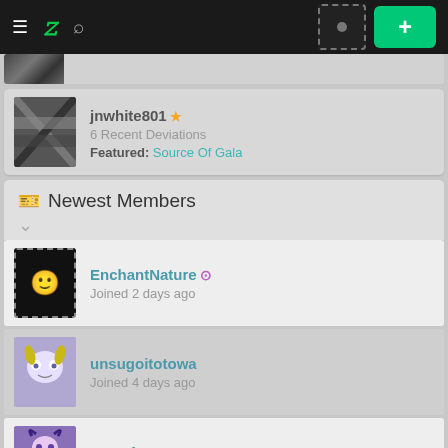DeviantArt navigation bar with hamburger menu, logo, search, avatar placeholder, and + button
jnwhite801 ⭐ 6 Recent Deviations Featured: Source Of Gala
Newest Members
EnchantNature — Joined 2 days ago
unsugoitotowa — Joined 4 days ago
rnessfey — Joined 1 week and 1 day ago
pennylonee — Joined 1 week and 1 day ago